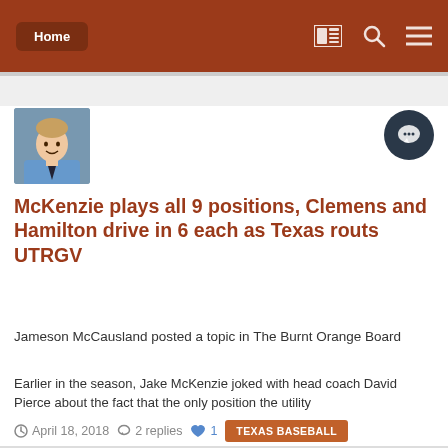Home
McKenzie plays all 9 positions, Clemens and Hamilton drive in 6 each as Texas routs UTRGV
Jameson McCausland posted a topic in The Burnt Orange Board
Earlier in the season, Jake McKenzie joked with head coach David Pierce about the fact that the only position the utility
April 18, 2018  2 replies  1  TEXAS BASEBALL